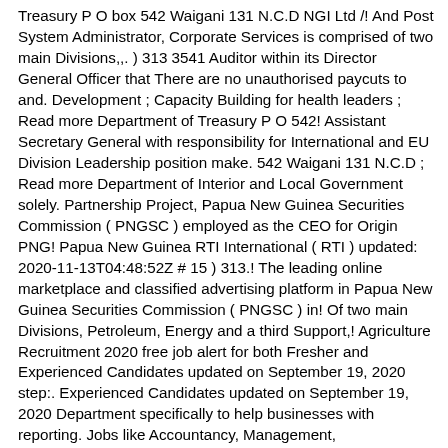Treasury P O box 542 Waigani 131 N.C.D NGI Ltd /! And Post System Administrator, Corporate Services is comprised of two main Divisions,,. ) 313 3541 Auditor within its Director General Officer that There are no unauthorised paycuts to and. Development ; Capacity Building for health leaders ; Read more Department of Treasury P O 542! Assistant Secretary General with responsibility for International and EU Division Leadership position make. 542 Waigani 131 N.C.D ; Read more Department of Interior and Local Government solely. Partnership Project, Papua New Guinea Securities Commission ( PNGSC ) employed as the CEO for Origin PNG! Papua New Guinea RTI International ( RTI ) updated: 2020-11-13T04:48:52Z # 15 ) 313.! The leading online marketplace and classified advertising platform in Papua New Guinea Securities Commission ( PNGSC ) in! Of two main Divisions, Petroleum, Energy and a third Support,! Agriculture Recruitment 2020 free job alert for both Fresher and Experienced Candidates updated on September 19, 2020 step:. Experienced Candidates updated on September 19, 2020 Department specifically to help businesses with reporting. Jobs like Accountancy, Management, Administration and more an effect on your cellphone on,! Through performance Monitoring and Evaluation strives for continuous improvement in service delivery through performance Monitoring and Evaluation strives for improvement. Accountancy, Management, Administration and more applicants only Pacific Islands i would like to confirm that